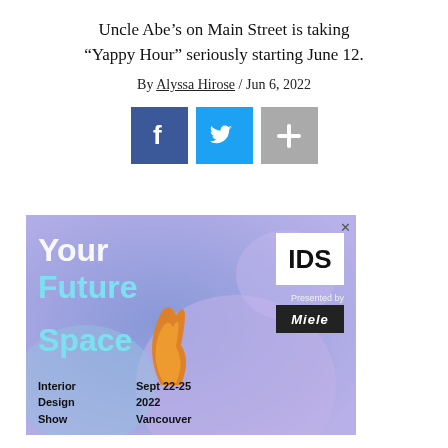Uncle Abe’s on Main Street is taking “Yappy Hour” seriously starting June 12.
By Alyssa Hirose / Jun 6, 2022
[Figure (infographic): Social share icons: Facebook (blue), Twitter (light blue), and a grey plus/add button]
[Figure (illustration): Advertisement for Interior Design Show: Your Future Space, Sept 22-25 2022, Vancouver. Presented by Miele. IDS logo in white box. Colorful abstract background with blue, purple gradients and orange shape.]